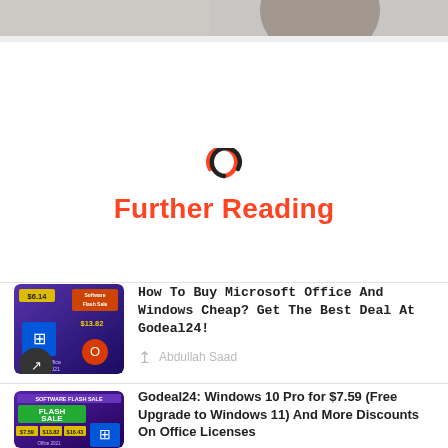[Figure (photo): Top portion of a photo showing people, partially cropped]
[Figure (logo): Two interlinked circles icon in red and dark, representing a link/further reading icon]
Further Reading
[Figure (photo): Thumbnail for article: software flash sale ad showing Windows and Office products with prices $6.14 and $13.82]
How To Buy Microsoft Office And Windows Cheap? Get The Best Deal At Godeal24!
Abdullah Saad
[Figure (photo): Thumbnail for article: Software Flash Sale banner in green and purple]
Godeal24: Windows 10 Pro for $7.59 (Free Upgrade to Windows 11) And More Discounts On Office Licenses